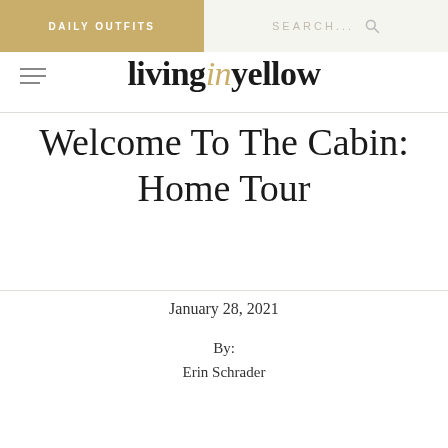DAILY OUTFITS   SEARCH...
livinginyellow
Welcome To The Cabin: Home Tour
January 28, 2021
By:
Erin Schrader